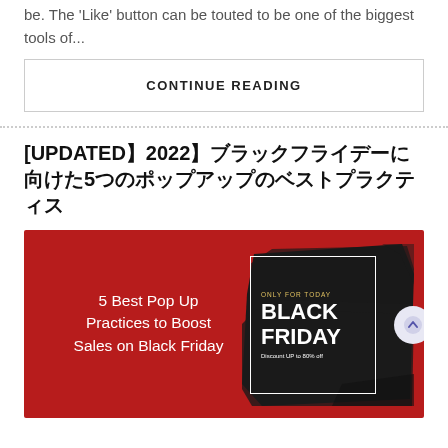be. The 'Like' button can be touted to be one of the biggest tools of...
CONTINUE READING
[UPDATED】2022】ブラックフライデーに向けた5つのポップアップのベストプラクティス
[Figure (illustration): Red promotional banner for Black Friday with text '5 Best Pop Up Practices to Boost Sales on Black Friday' on the left, and a black brush stroke design with a white bordered box containing 'ONLY FOR TODAY BLACK FRIDAY Discount UP to 80% off' on the right, with a circular up-arrow button overlay.]